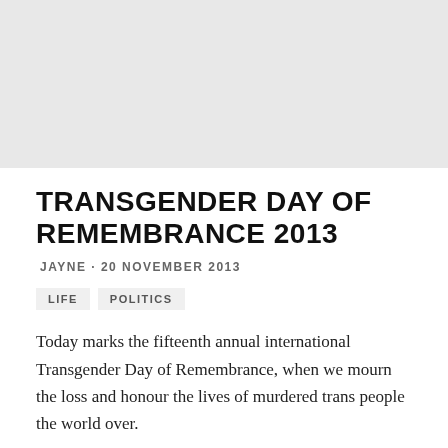[Figure (photo): Gray placeholder header image area]
TRANSGENDER DAY OF REMEMBRANCE 2013
JAYNE · 20 NOVEMBER 2013
LIFE   POLITICS
Today marks the fifteenth annual international Transgender Day of Remembrance, when we mourn the loss and honour the lives of murdered trans people the world over.
According to the Trans Murder Monitoring project, 1374 trans people have been murdered in 60 countries worldwide since